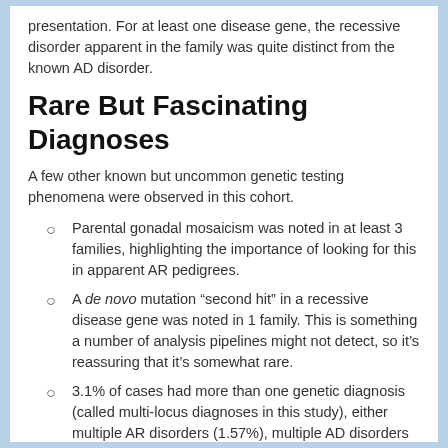presentation. For at least one disease gene, the recessive disorder apparent in the family was quite distinct from the known AD disorder.
Rare But Fascinating Diagnoses
A few other known but uncommon genetic testing phenomena were observed in this cohort.
Parental gonadal mosaicism was noted in at least 3 families, highlighting the importance of looking for this in apparent AR pedigrees.
A de novo mutation “second hit” in a recessive disease gene was noted in 1 family. This is something a number of analysis pipelines might not detect, so it’s reassuring that it’s somewhat rare.
3.1% of cases had more than one genetic diagnosis (called multi-locus diagnoses in this study), either multiple AR disorders (1.57%), multiple AD disorders (0.4%), or a combination (1.35%).